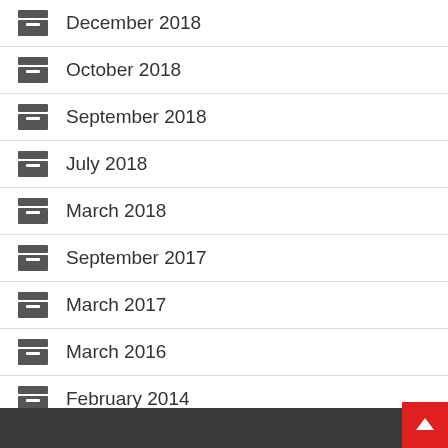December 2018
October 2018
September 2018
July 2018
March 2018
September 2017
March 2017
March 2016
February 2014
February 2012
September 2008